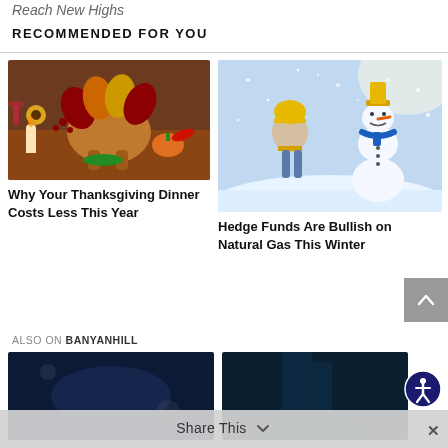Reach New Highs
RECOMMENDED FOR YOU
[Figure (photo): Thanksgiving dinner spread with roasted turkey, fruits, sunflower, candles, and festive food]
Why Your Thanksgiving Dinner Costs Less This Year
[Figure (photo): Child in yellow hat and scarf leaning toward a snowman wearing a blue scarf, in snowfall]
Hedge Funds Are Bullish on Natural Gas This Winter
ALSO ON BANYANHILL
[Figure (photo): Dark blue abstract background image]
[Figure (photo): Dark teal forest/nature background image]
Share This